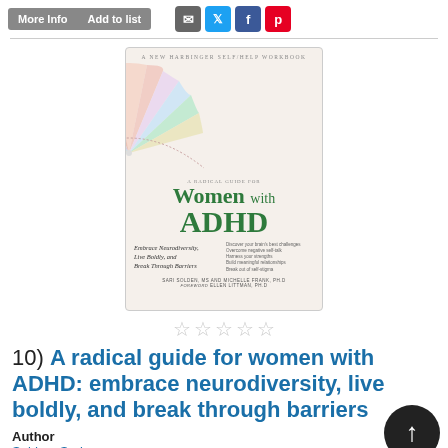More Info | Add to list | [social icons: email, twitter, facebook, pinterest]
[Figure (photo): Book cover of 'A Radical Guide for Women with ADHD: Embrace Neurodiversity, Live Boldly, and Break Through Barriers' by Sari Solden, MS and Michelle Frank, PhD, foreword by Ellen Littman, PhD. New Harbinger self-help workbook. Cover features colorful paper fan/flower design on cream background.]
☆☆☆☆☆
10) A radical guide for women with ADHD: embrace neurodiversity, live boldly, and break through barriers
Author
Solden, Sari
Series
New Harbinger self-help workbook